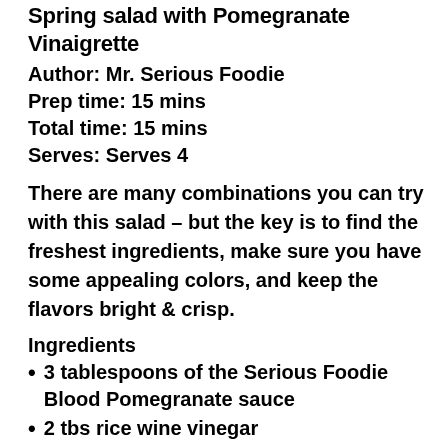Spring salad with Pomegranate Vinaigrette
Author: Mr. Serious Foodie
Prep time: 15 mins
Total time: 15 mins
Serves: Serves 4
There are many combinations you can try with this salad – but the key is to find the freshest ingredients, make sure you have some appealing colors, and keep the flavors bright & crisp.
Ingredients
3 tablespoons of the Serious Foodie Blood Pomegranate sauce
2 tbs rice wine vinegar
2 tbs soy sauce